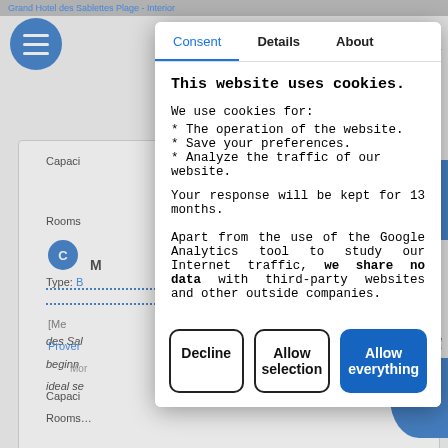[Figure (screenshot): Background webpage content showing hotel listing page with hamburger menu icon, capacity/rooms/type labels, blue circle decorations, italic hotel description text, dotted lines, and a 'C' badge icon]
Consent | Details | About
This website uses cookies.
We use cookies for:
* The operation of the website.
* Save your preferences.
* Analyze the traffic of our website.
Your response will be kept for 13 months.
Apart from the use of the Google Analytics tool to study our Internet traffic, we share no data with third-party websites and other outside companies.